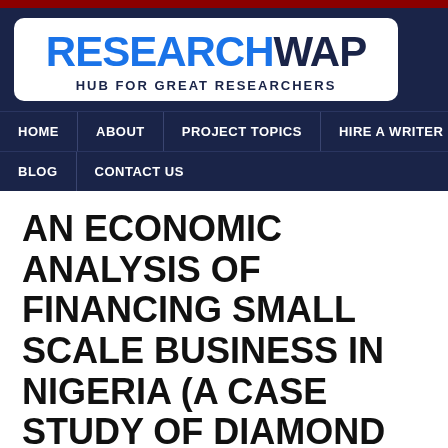[Figure (logo): ResearchWap logo with text 'RESEARCH' in blue and 'WAP' in dark navy, subtitle 'HUB FOR GREAT RESEARCHERS' on white rounded rectangle background]
HOME | ABOUT | PROJECT TOPICS | HIRE A WRITER | BLOG | CONTACT US
AN ECONOMIC ANALYSIS OF FINANCING SMALL SCALE BUSINESS IN NIGERIA (A CASE STUDY OF DIAMOND